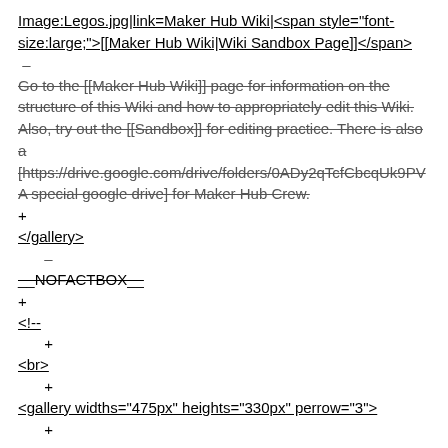Image:Legos.jpg|link=Maker Hub Wiki|<span style="font-size:large;">[[Maker Hub Wiki|Wiki Sandbox Page]]</span>
–
Go to the [[Maker Hub Wiki]] page for information on the structure of this Wiki and how to appropriately edit this Wiki. Also, try out the [[Sandbox]] for editing practice. There is also a [https://drive.google.com/drive/folders/0ADy2qTcfCbcqUk9PV A special google drive] for Maker Hub Crew.
+
</gallery>
–
__NOFACTBOX__
+
<!--
+
<br>
+
<gallery widths="475px" heights="330px" perrow="3">
+